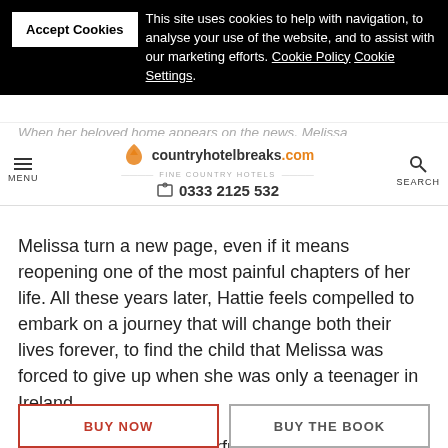Accept Cookies – This site uses cookies to help with navigation, to analyse your use of the website, and to assist with our marketing efforts. Cookie Policy Cookie Settings.
countryhotelbreaks.com FINE COUNTRY HOTELS – MENU – SEARCH – 0333 2125 532
Melissa turn a new page, even if it means reopening one of the most painful chapters of her life. All these years later, Hattie feels compelled to embark on a journey that will change both their lives forever, to find the child that Melissa was forced to give up when she was only a teenager in Ireland.
Finding Ashley is a powerful love story of two strong, brave women turning loss into reconnection, and a family reunited.